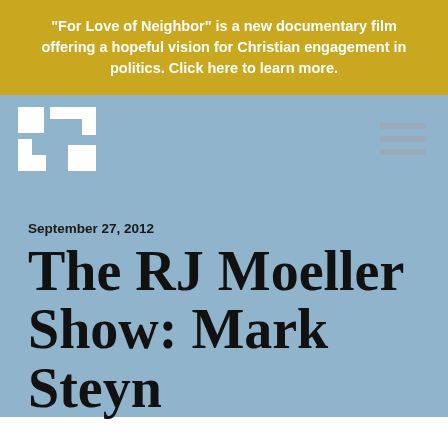"For Love of Neighbor" is a new documentary film offering a hopeful vision for Christian engagement in politics. Click here to learn more.
[Figure (logo): White cross/plus symbol logo made of rectangular blocks on light blue background]
September 27, 2012
The RJ Moeller Show: Mark Steyn